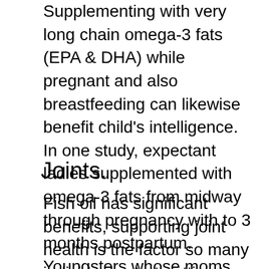Supplementing with very long chain omega-3 fats (EPA & DHA) while pregnant and also breastfeeding can likewise benefit child's intelligence. In one study, expectant ladies supplemented with omega-3 fats from midway through pregnancy with to 3 months postpartum. Youngsters whose moms had actually taken these omega-3 fatty acids later scored greater on intelligence tests.4.
Joints.
Fish oil has significant benefits, supporting joint health is the factor so many individuals start getting to for this supplement. People who supplement with omega-3 daily have actually discovered this substantially supports their joints.5 When it comes to krill